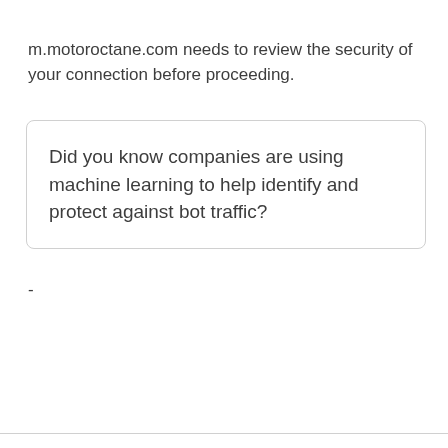m.motoroctane.com needs to review the security of your connection before proceeding.
Did you know companies are using machine learning to help identify and protect against bot traffic?
-